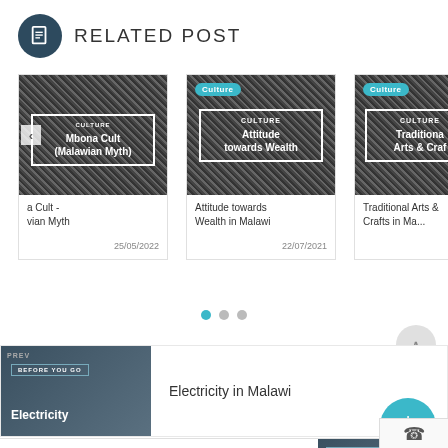RELATED POST
[Figure (screenshot): Card image for 'Mbona Cult (Malawian Myth)' with decorative dark pattern background, Culture category label, white text box showing CULTURE and partial title 'Mbona Cult (Malawian Myth)']
a Cult - vian Myth
25/05/2022
[Figure (screenshot): Card image for 'Attitude towards Wealth in Malawi' with decorative dark pattern background, Culture category pill, white box showing CULTURE and 'Attitude towards Wealth']
Attitude towards Wealth in Malawi
22/07/2021
[Figure (screenshot): Card image for 'Traditional Arts & Crafts in Malawi' with decorative dark pattern background, Culture category pill, white box showing CULTURE and partial 'Traditional Arts & Crafts']
Traditional Arts & Crafts in Ma...
22/0
[Figure (screenshot): Electricity in Malawi thumbnail showing Before You Go label and Electricity text overlay on dark blue background]
Electricity in Malawi
HIV and AIDS in Malawi